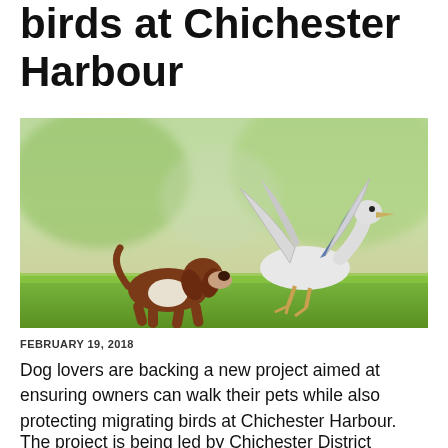birds at Chichester Harbour
[Figure (photo): A brown and white springer spaniel dog running and chasing a white goose/duck that is taking flight, on a green grass surface with a blurred green background.]
FEBRUARY 19, 2018
Dog lovers are backing a new project aimed at ensuring owners can walk their pets while also protecting migrating birds at Chichester Harbour.
The project is being led by Chichester District